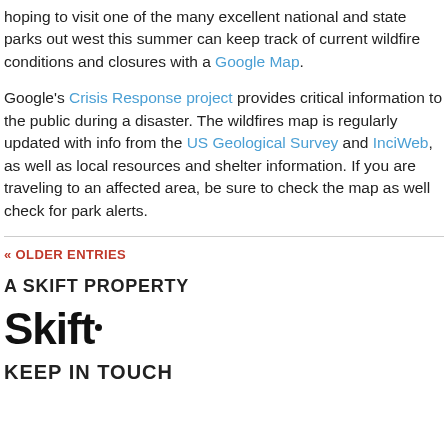hoping to visit one of the many excellent national and state parks out west this summer can keep track of current wildfire conditions and closures with a Google Map.
Google's Crisis Response project provides critical information to the public during a disaster. The wildfires map is regularly updated with info from the US Geological Survey and InciWeb, as well as local resources and shelter information. If you are traveling to an affected area, be sure to check the map as well check for park alerts.
« OLDER ENTRIES
A SKIFT PROPERTY
[Figure (logo): Skift logo in bold black text with a small dot]
KEEP IN TOUCH